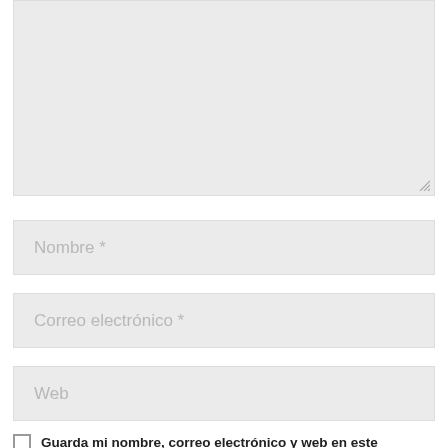[Figure (screenshot): A textarea form field with a gray background and a resize handle in the bottom-right corner]
Nombre *
Correo electrónico *
Web
Guarda mi nombre, correo electrónico y web en este navegador para la próxima vez que comente.